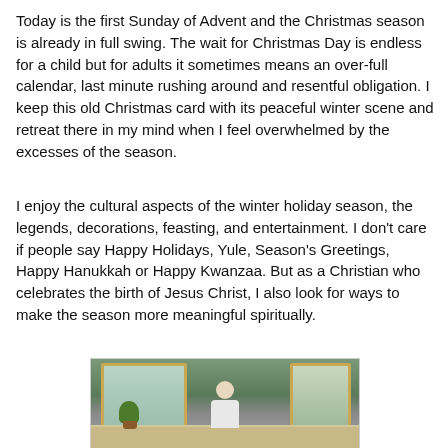Today is the first Sunday of Advent and the Christmas season is already in full swing. The wait for Christmas Day is endless for a child but for adults it sometimes means an over-full calendar, last minute rushing around and resentful obligation. I keep this old Christmas card with its peaceful winter scene and retreat there in my mind when I feel overwhelmed by the excesses of the season.
I enjoy the cultural aspects of the winter holiday season, the legends, decorations, feasting, and entertainment. I don't care if people say Happy Holidays, Yule, Season's Greetings, Happy Hanukkah or Happy Kwanzaa. But as a Christian who celebrates the birth of Jesus Christ, I also look for ways to make the season more meaningful spiritually.
[Figure (photo): An elderly person in a wheelchair viewed from behind, sitting in front of large windows with wooden frames. Green plants are visible on the windowsill. The room has a warm interior with a wooden floor.]